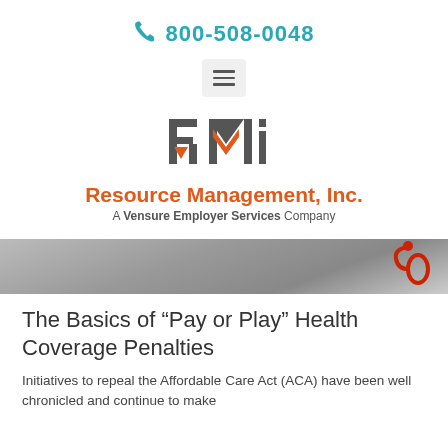800-508-0048
[Figure (logo): RMI Resource Management, Inc. logo — stylized R M i letters in dark gray with orange accents, subtitle 'A Vensure Employer Services Company']
[Figure (photo): Hero image showing a stethoscope, medical background in gray tones]
The Basics of “Pay or Play” Health Coverage Penalties
Initiatives to repeal the Affordable Care Act (ACA) have been well chronicled and continue to make